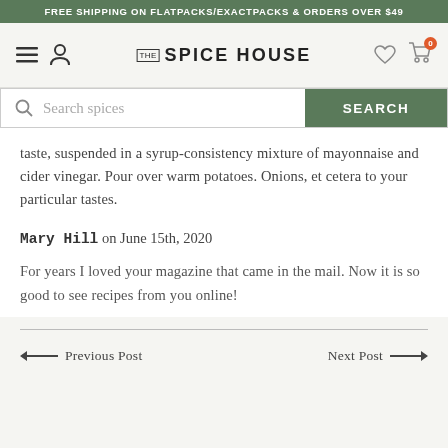FREE SHIPPING ON FLATPACKS/EXACTPACKS & ORDERS OVER $49
[Figure (screenshot): The Spice House website navigation bar with hamburger menu, user icon, logo, heart icon, and shopping cart with badge showing 0]
[Figure (screenshot): Search bar with magnifying glass icon, placeholder text 'Search spices', and green SEARCH button]
taste, suspended in a syrup-consistency mixture of mayonnaise and cider vinegar. Pour over warm potatoes. Onions, et cetera to your particular tastes.
Mary Hill on June 15th, 2020
For years I loved your magazine that came in the mail. Now it is so good to see recipes from you online!
Previous Post
Next Post